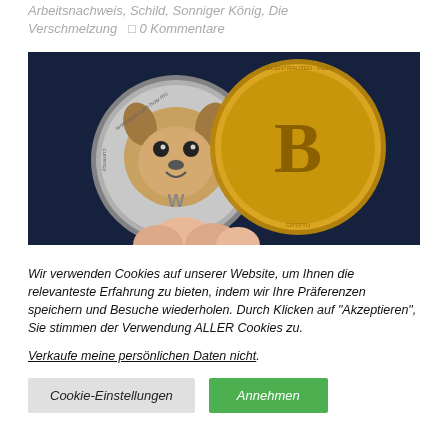Arbeitsnachweis, Schild, Sonniger König, Die Verschmelzung  □ 0 Kommentare
[Figure (photo): A hand holding two cryptocurrency coins side by side — a Dogecoin (silver, with Shiba Inu dog face) and a Bitcoin (gold, with large B symbol), against a dark blue background.]
Wir verwenden Cookies auf unserer Website, um Ihnen die relevanteste Erfahrung zu bieten, indem wir Ihre Präferenzen speichern und Besuche wiederholen. Durch Klicken auf "Akzeptieren", Sie stimmen der Verwendung ALLER Cookies zu.
Verkaufe meine persönlichen Daten nicht.
Cookie-Einstellungen   Annehmen